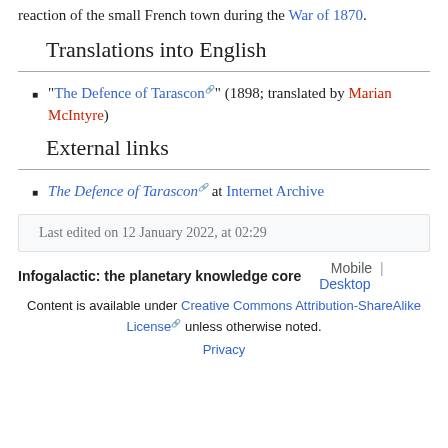reaction of the small French town during the War of 1870.
Translations into English
"The Defence of Tarascon" (1898; translated by Marian McIntyre)
External links
The Defence of Tarascon at Internet Archive
Last edited on 12 January 2022, at 02:29
Infogalactic: the planetary knowledge core   Mobile | Desktop   Content is available under Creative Commons Attribution-ShareAlike License unless otherwise noted.   Privacy